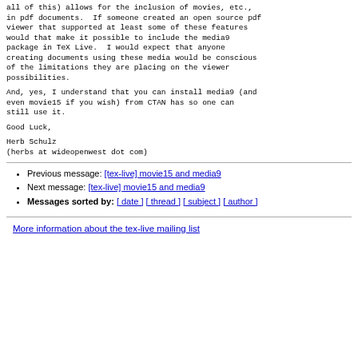all of this) allows for the inclusion of movies, etc., in pdf documents. If someone created an open source pdf viewer that supported at least some of these features would that make it possible to include the media9 package in TeX Live. I would expect that anyone creating documents using these media would be conscious of the limitations they are placing on the viewer possibilities.
And, yes, I understand that you can install media9 (and even movie15 if you wish) from CTAN has so one can still use it.
Good Luck,
Herb Schulz
(herbs at wideopenwest dot com)
Previous message: [tex-live] movie15 and media9
Next message: [tex-live] movie15 and media9
Messages sorted by: [ date ] [ thread ] [ subject ] [ author ]
More information about the tex-live mailing list